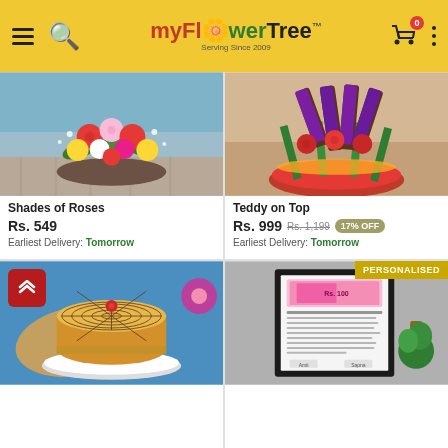[Figure (screenshot): MyFlowerTree app header with hamburger menu, search icon, logo, cart icon with 0 badge, and vertical dots menu on yellow background]
[Figure (photo): Colorful rose bouquet arrangement with pink, red, yellow, and white roses in a low basket on a wooden surface]
Shades of Roses
Rs. 549
Earliest Delivery: Tomorrow
[Figure (photo): Arrangement of red roses and Dairy Milk chocolate bars in a red cushion base with green and yellow ribbon wrapping]
Teddy on Top
Rs. 999  Rs. 1,199  17% OFF
Earliest Delivery: Tomorrow
[Figure (photo): Round butterscotch cake with chocolate grid pattern and a red cherry on top, on a white plate against a blue background with pink flower]
[Figure (photo): Framed personalised love agreement document with a currency note graphic, displayed against a grey background with a green plant visible. PERSONALISED badge in top right corner.]